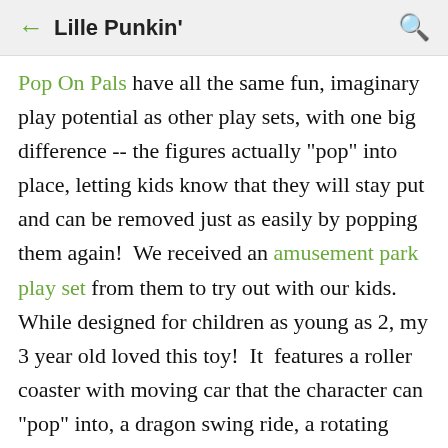← Lille Punkin' 🔍
Pop On Pals have all the same fun, imaginary play potential as other play sets, with one big difference -- the figures actually "pop" into place, letting kids know that they will stay put and can be removed just as easily by popping them again!  We received an amusement park play set from them to try out with our kids.  While designed for children as young as 2, my 3 year old loved this toy!  It  features a roller coaster with moving car that the character can "pop" into, a dragon swing ride, a rotating ferris wheel, and a "knock down the bottles" stand.  All this is part of